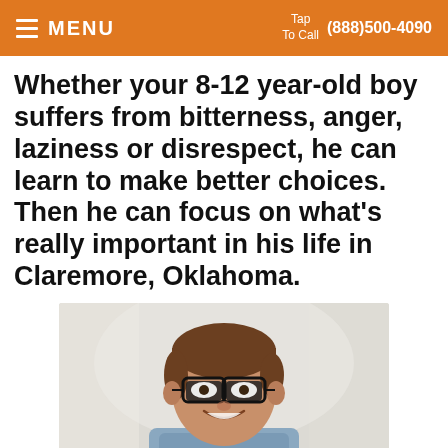MENU | Tap To Call (888)500-4090
Whether your 8-12 year-old boy suffers from bitterness, anger, laziness or disrespect, he can learn to make better choices. Then he can focus on what’s really important in his life in Claremore, Oklahoma.
[Figure (photo): A smiling young boy with brown hair and black-rimmed glasses, wearing a blue shirt, photographed indoors with a light background.]